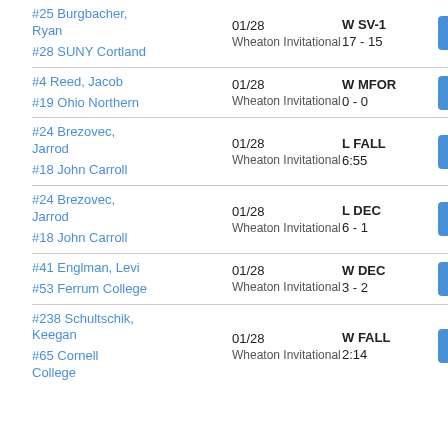#25 Burgbacher, Ryan vs #28 SUNY Cortland | 01/28 | Wheaton Invitational | W SV-1 | 17 - 15
#4 Reed, Jacob vs #19 Ohio Northern | 01/28 | Wheaton Invitational | W MFOR | 0 - 0
#24 Brezovec, Jarrod vs #18 John Carroll | 01/28 | Wheaton Invitational | L FALL | 6:55
#24 Brezovec, Jarrod vs #18 John Carroll | 01/28 | Wheaton Invitational | L DEC | 6 - 1
#41 Englman, Levi vs #53 Ferrum College | 01/28 | Wheaton Invitational | W DEC | 3 - 2
#238 Schultschik, Keegan vs #65 Cornell College | 01/28 | Wheaton Invitational | W FALL | 2:14